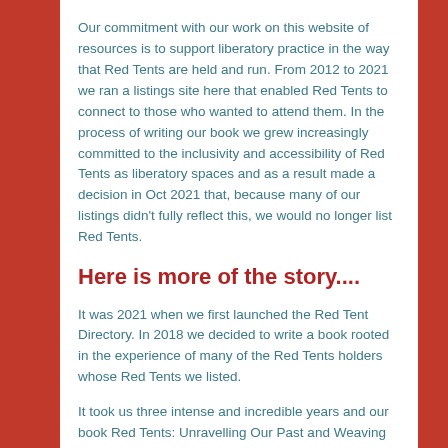Our commitment with our work on this website of resources is to support liberatory practice in the way that Red Tents are held and run. From 2012 to 2021 we ran a listings site here that enabled Red Tents to connect to those who wanted to attend them. In the process of writing our book we grew increasingly committed to the inclusivity and accessibility of Red Tents as liberatory spaces and as a result made a decision in Oct 2021 that, because many of our listings didn't fully reflect this, we would no longer list Red Tents.
Here is more of the story....
It was 2021 when we first launched the Red Tent Directory. In 2018 we decided to write a book rooted in the experience of many of the Red Tents holders whose Red Tents we listed.
It took us three intense and incredible years and our book Red Tents: Unravelling Our Past and Weaving a Shared